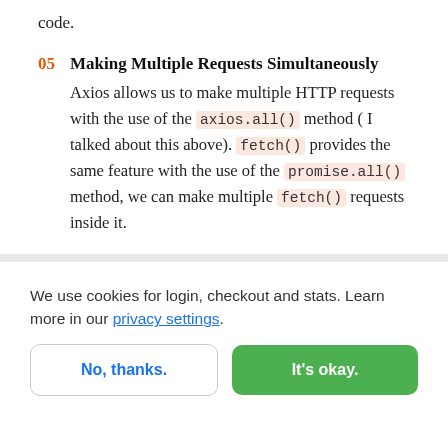code.
05 Making Multiple Requests Simultaneously
Axios allows us to make multiple HTTP requests with the use of the axios.all() method (I talked about this above). fetch() provides the same feature with the use of the promise.all() method, we can make multiple fetch() requests inside it.
We use cookies for login, checkout and stats. Learn more in our privacy settings.
No, thanks.
It's okay.